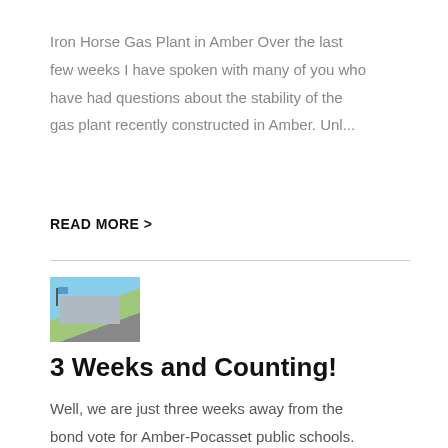Iron Horse Gas Plant in Amber Over the last few weeks I have spoken with many of you who have had questions about the stability of the gas plant recently constructed in Amber. Unl...
READ MORE >
[Figure (photo): Thumbnail photo of a public school building with a flag pole, green lawn, and blue sky]
3 Weeks and Counting!
Well, we are just three weeks away from the bond vote for Amber-Pocasset public schools. Several people have asked about the impact the gas plant and other